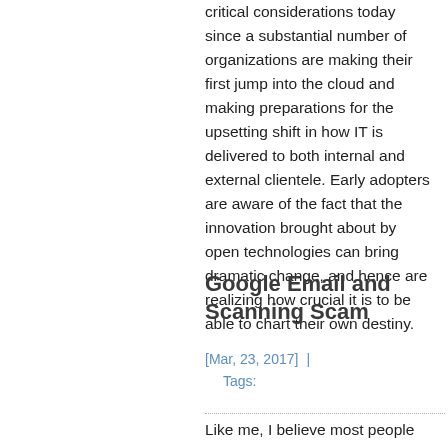critical considerations today since a substantial number of organizations are making their first jump into the cloud and making preparations for the upsetting shift in how IT is delivered to both internal and external clientele. Early adopters are aware of the fact that the innovation brought about by open technologies can bring dramatic change, and hence are realizing how crucial it is to be able to chart their own destiny.
Google Email and Scanning Scam
[Mar, 23, 2017]  |  Tags:
Like me, I believe most people go about their business, most times...